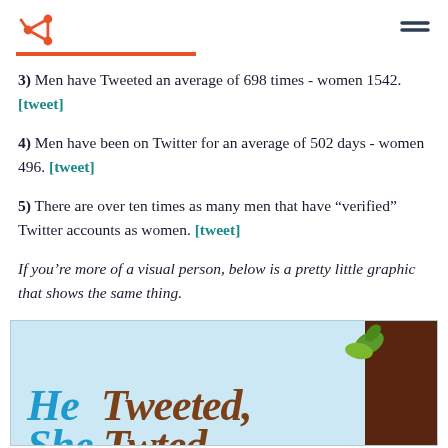HubSpot logo and hamburger menu
3) Men have Tweeted an average of 698 times - women 1542. [tweet]
4) Men have been on Twitter for an average of 502 days - women 496. [tweet]
5) There are over ten times as many men that have “verified” Twitter accounts as women. [tweet]
If you’re more of a visual person, below is a pretty little graphic that shows the same thing.
[Figure (infographic): Infographic with light blue background and brown side panel, showing stylized italic text 'He Tweeted,' and partially visible second line, with decorative leaf motif]